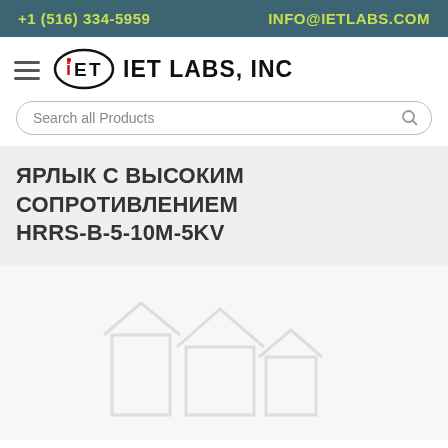+1 (516) 334-5959    INFO@IETLABS.COM
[Figure (logo): IET Labs, Inc logo — oval with IET text inside, followed by IET LABS, INC wordmark]
Search all Products
ЯРЛЫК С ВЫСОКИМ СОПРОТИВЛЕНИЕМ HRRS-B-5-10M-5KV
[Figure (photo): Product image placeholder with faint building/warehouse icon watermark on light gray background]